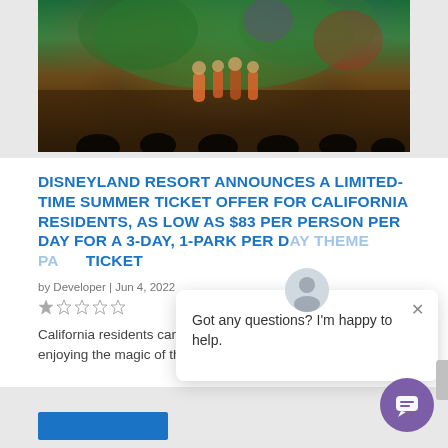[Figure (photo): Performance/show scene at Disneyland with colorful costumes and stage backdrop featuring vibrant green and red decorative design, audience silhouettes in foreground]
DISNEYLAND RESORT ANNOUNCES A LIMITED-TIME SUMMER TICKET OFFER FOR CALIFORNIA RESIDENTS, AS LOW AS $83 PER PERSON PER DAY FOR A 3-DAY, 1-PARK PER DAY THEME PARK TICKET
by Developer | Jun 4, 2022
★★★★★ (star rating display)
California residents can make the most of this summer by enjoying the magic of the Disneyland...